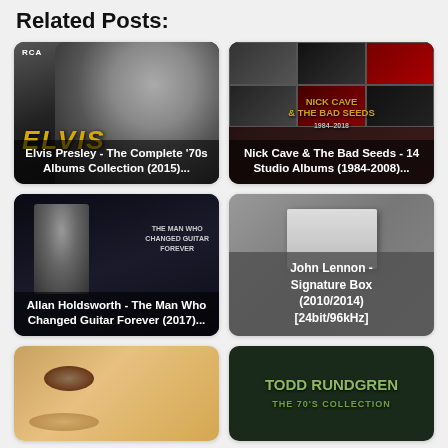Related Posts:
[Figure (photo): Elvis Presley - The Complete '70s Albums Collection (2015) album cover with black and white photo of Elvis and golden ELVIS text]
[Figure (photo): Nick Cave & The Bad Seeds - 14 Studio Albums (1984-2008) compilation cover with grid of album artwork]
[Figure (photo): Allan Holdsworth - The Man Who Changed Guitar Forever (2017) album cover with guitarist figure]
[Figure (photo): John Lennon - Signature Box (2010/2014) [24bit/96kHz] box set image on grey background]
[Figure (photo): Partial album cover showing close-up of a face]
[Figure (photo): Todd Rundgren - The 70's Collection album cover with green text on dark background]